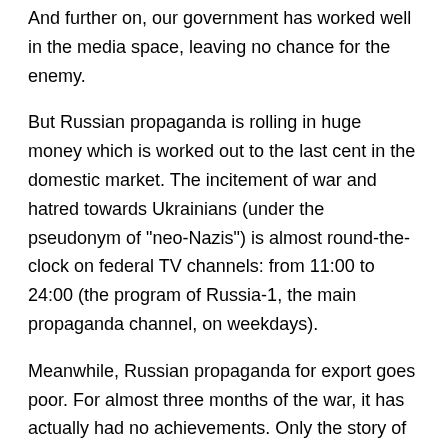And further on, our government has worked well in the media space, leaving no chance for the enemy.
But Russian propaganda is rolling in huge money which is worked out to the last cent in the domestic market. The incitement of war and hatred towards Ukrainians (under the pseudonym of "neo-Nazis") is almost round-the-clock on federal TV channels: from 11:00 to 24:00 (the program of Russia-1, the main propaganda channel, on weekdays).
Meanwhile, Russian propaganda for export goes poor. For almost three months of the war, it has actually had no achievements. Only the story of French volunteer Adrien Bocquet, which began on May 10-11, caused a relative stir. The Ukrainian media have already sorted out the doubtfulness of his statements. On May 14, Stopfake.org platform released the article entitled "How Frenchman Adrien Bocquet whitewashes Russian atrocities in Bucha". On May 15, Information Navigator...